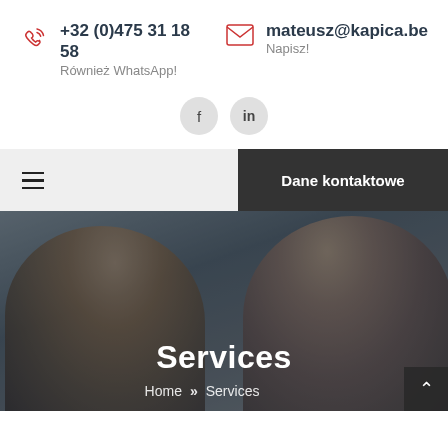+32 (0)475 31 18 58
Również WhatsApp!
mateusz@kapica.be
Napisz!
[Figure (screenshot): Facebook and LinkedIn social media icon buttons (circular grey buttons with f and in labels)]
Dane kontaktowe
[Figure (photo): Hero image showing two women working together, overlaid with dark tint]
Services
Home > Services